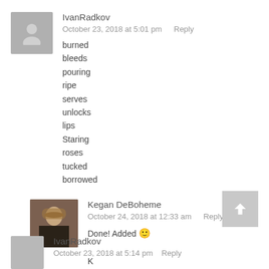IvanRadkov
October 23, 2018 at 5:01 pm   Reply
burned
bleeds
pouring
ripe
serves
unlocks
lips
Staring
roses
tucked
borrowed
Kegan DeBoheme
October 24, 2018 at 12:33 am   Reply
Done! Added 🙂

K
IvanRadkov
October 23, 2018 at 5:14 pm   Reply